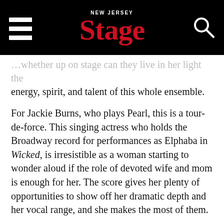New Jersey Stage
…energy, spirit, and talent of this whole ensemble.
For Jackie Burns, who plays Pearl, this is a tour-de-force. This singing actress who holds the Broadway record for performances as Elphaba in Wicked, is irresistible as a woman starting to wonder aloud if the role of devoted wife and mom is enough for her. The score gives her plenty of opportunities to show off her dramatic depth and her vocal range, and she makes the most of them.
Carly Gendell, who appeared on Broadway in the original cast of School of Rock: The Musical, succeeds utterly in the role of teenaged Alison. The young performer keeps